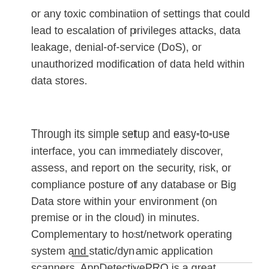or any toxic combination of settings that could lead to escalation of privileges attacks, data leakage, denial-of-service (DoS), or unauthorized modification of data held within data stores.
Through its simple setup and easy-to-use interface, you can immediately discover, assess, and report on the security, risk, or compliance posture of any database or Big Data store within your environment (on premise or in the cloud) in minutes. Complementary to host/network operating system and static/dynamic application scanners, AppDetectivePRO is a great addition to any existing security toolkit with its concentration on relational databases and Big Data stores.